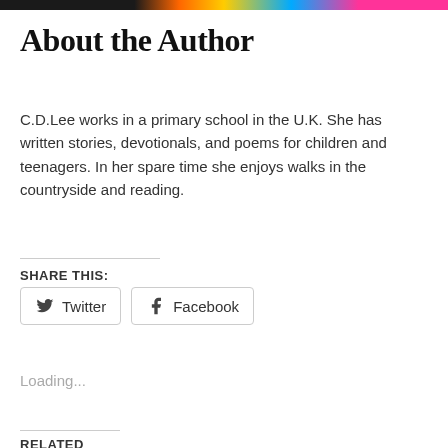[colorful banner image strip]
About the Author
C.D.Lee works in a primary school in the U.K. She has written stories, devotionals, and poems for children and teenagers. In her spare time she enjoys walks in the countryside and reading.
SHARE THIS:
Twitter  Facebook
Loading...
RELATED